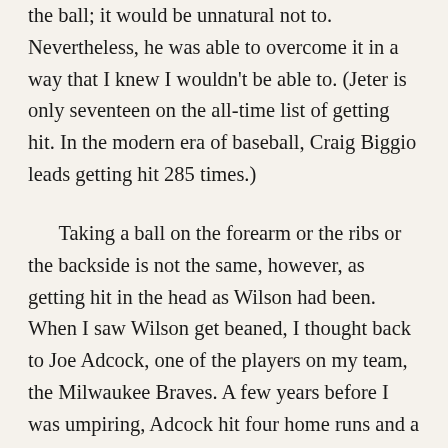the ball; it would be unnatural not to. Nevertheless, he was able to overcome it in a way that I knew I wouldn't be able to. (Jeter is only seventeen on the all-time list of getting hit. In the modern era of baseball, Craig Biggio leads getting hit 285 times.)
Taking a ball on the forearm or the ribs or the backside is not the same, however, as getting hit in the head as Wilson had been. When I saw Wilson get beaned, I thought back to Joe Adcock, one of the players on my team, the Milwaukee Braves. A few years before I was umpiring, Adcock hit four home runs and a double in a game against the Brooklyn Dodgers. The next day at Ebbets Field, he led off with another homer. The next time up, he was hit in